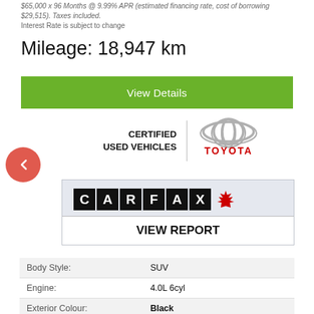$65,000 x 96 Months @ 9.99% APR (estimated financing rate, cost of borrowing $29,515). Taxes included.
Interest Rate is subject to change
Mileage: 18,947 km
View Details
[Figure (logo): Certified Used Vehicles Toyota logo with Toyota emblem]
[Figure (logo): CARFAX Canada logo with red maple leaf]
VIEW REPORT
|  |  |
| --- | --- |
| Body Style: | SUV |
| Engine: | 4.0L 6cyl |
| Exterior Colour: | Black |
| VIN: | JTELU5JR3M5930796 |
| Transmission: | Automatic |